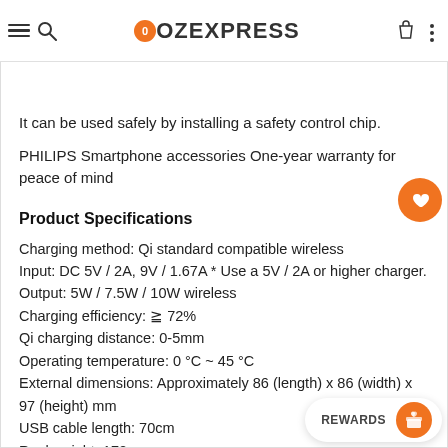OZEXPRESS
It can be used safely by installing a safety control chip.
PHILIPS Smartphone accessories One-year warranty for peace of mind
Product Specifications
Charging method: Qi standard compatible wireless
Input: DC 5V / 2A, 9V / 1.67A * Use a 5V / 2A or higher charger.
Output: 5W / 7.5W / 10W wireless
Charging efficiency: ≧ 72%
Qi charging distance: 0-5mm
Operating temperature: 0 °C ~ 45 °C
External dimensions: Approximately 86 (length) x 86 (width) x 97 (height) mm
USB cable length: 70cm
Real weight: 172g